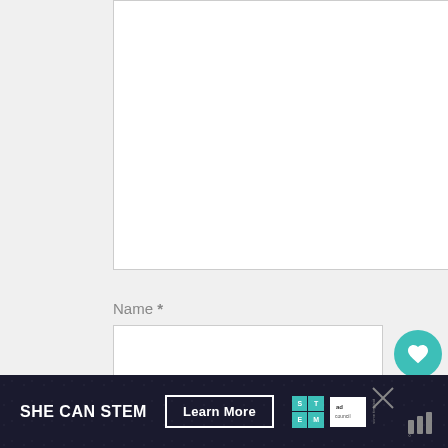[Figure (screenshot): White textarea input box with resize handle in bottom-right corner]
Name *
[Figure (screenshot): White text input box for Name field]
Email *
[Figure (screenshot): White text input box for Email field]
[Figure (infographic): Teal circular heart/like button with count 39 below, and share button]
[Figure (infographic): SHE CAN STEM advertisement banner with Learn More button, STEM logo, ad council logo, close X, and weather icon]